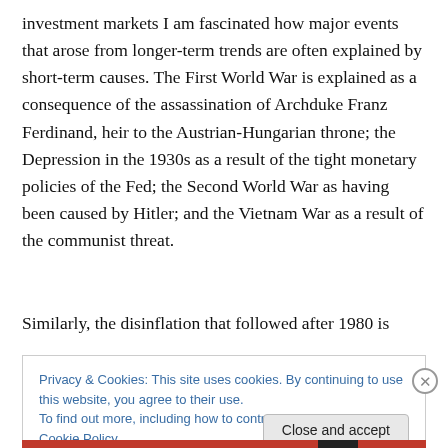investment markets I am fascinated how major events that arose from longer-term trends are often explained by short-term causes. The First World War is explained as a consequence of the assassination of Archduke Franz Ferdinand, heir to the Austrian-Hungarian throne; the Depression in the 1930s as a result of the tight monetary policies of the Fed; the Second World War as having been caused by Hitler; and the Vietnam War as a result of the communist threat.
Similarly, the disinflation that followed after 1980 is
Privacy & Cookies: This site uses cookies. By continuing to use this website, you agree to their use.
To find out more, including how to control cookies, see here: Cookie Policy